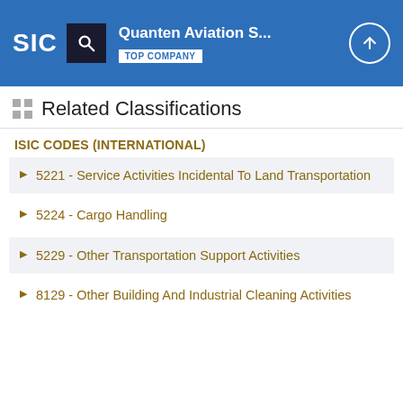Quanten Aviation S... TOP COMPANY
Related Classifications
ISIC CODES (INTERNATIONAL)
5221 - Service Activities Incidental To Land Transportation
5224 - Cargo Handling
5229 - Other Transportation Support Activities
8129 - Other Building And Industrial Cleaning Activities